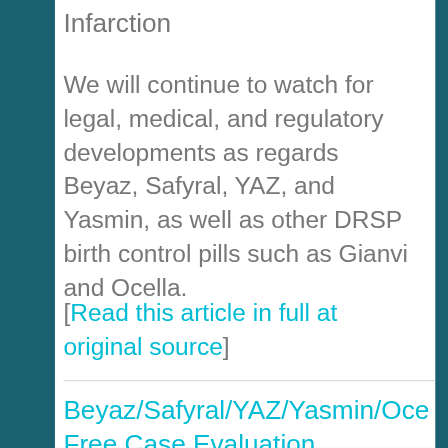Infarction
We will continue to watch for legal, medical, and regulatory developments as regards Beyaz, Safyral, YAZ, and Yasmin, as well as other DRSP birth control pills such as Gianvi and Ocella.
[Read this article in full at original source]
Beyaz/Safyral/YAZ/Yasmin/Oce... Free Case Evaluation